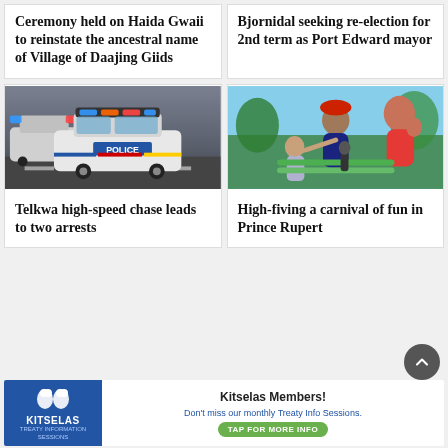Ceremony held on Haida Gwaii to reinstate the ancestral name of Village of Daajing Giids
Bjornidal seeking re-election for 2nd term as Port Edward mayor
[Figure (photo): Police SUV vehicle with flashing blue and red lights on street]
Telkwa high-speed chase leads to two arrests
[Figure (photo): People high-fiving at a carnival, woman in red shirt and cap interacting with children]
High-fiving a carnival of fun in Prince Rupert
[Figure (infographic): Advertisement for Kitselas Members Treaty Info Sessions with TAP FOR MORE INFO button]